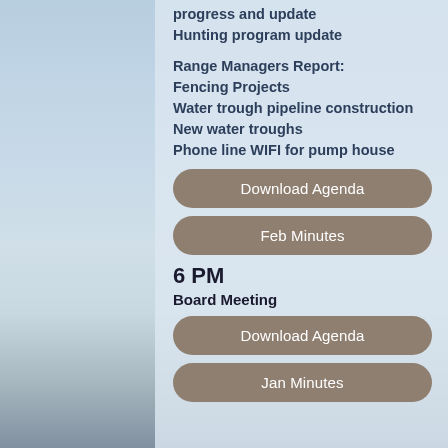progress and update
Hunting program update
Range Managers Report:
Fencing Projects
Water trough pipeline construction
New water troughs
Phone line WIFI for pump house
Download Agenda
Feb Minutes
6 PM
Board Meeting
Download Agenda
Jan Minutes